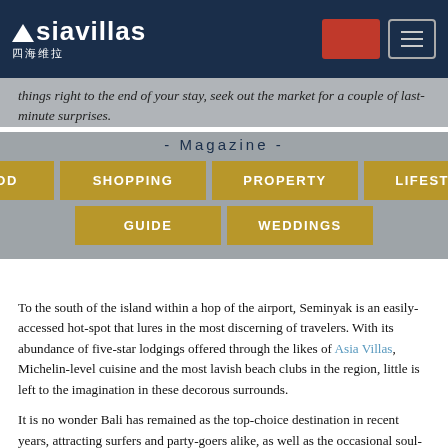Asiavillas 四海维拉 [navigation header with logo, red box, and menu icon]
things right to the end of your stay, seek out the market for a couple of last-minute surprises.
- Magazine -
FOOD
SHOPPING
PROPERTY
LIFESTYLE
GUIDE
WEDDINGS
To the south of the island within a hop of the airport, Seminyak is an easily-accessed hot-spot that lures in the most discerning of travelers. With its abundance of five-star lodgings offered through the likes of Asia Villas, Michelin-level cuisine and the most lavish beach clubs in the region, little is left to the imagination in these decorous surrounds.
It is no wonder Bali has remained as the top-choice destination in recent years, attracting surfers and party-goers alike, as well as the occasional soul-searcher looking for some